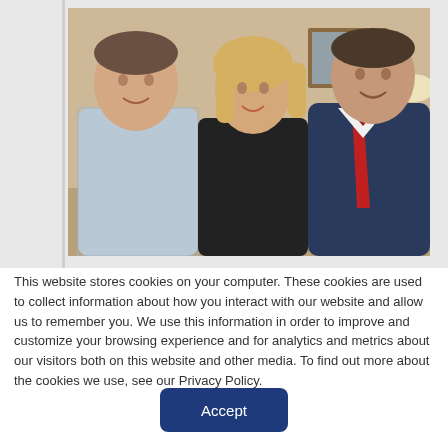[Figure (photo): Three people posing together: a man on the left in a light checked shirt, a woman in the center with blonde hair wearing a black top, and a man on the right in a dark blue blazer with a red tie. They appear to be in an office or hotel room setting.]
Lone Star Credit Union – Their IT Success Story So how can a credit union use IT for business
This website stores cookies on your computer. These cookies are used to collect information about how you interact with our website and allow us to remember you. We use this information in order to improve and customize your browsing experience and for analytics and metrics about our visitors both on this website and other media. To find out more about the cookies we use, see our Privacy Policy.
Accept